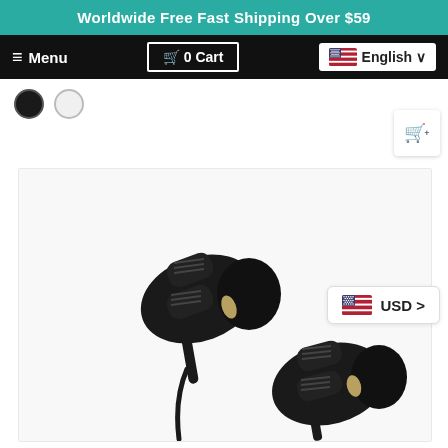Worldwide Free Fast Shipping Over $59
≡ Menu
🛒 0 Cart
🇺🇸 English ∨
[Figure (photo): Two black dual-driver in-ear earphones with cables shown on a white background. The earbuds feature a dual speaker design with a metallic finish housing.]